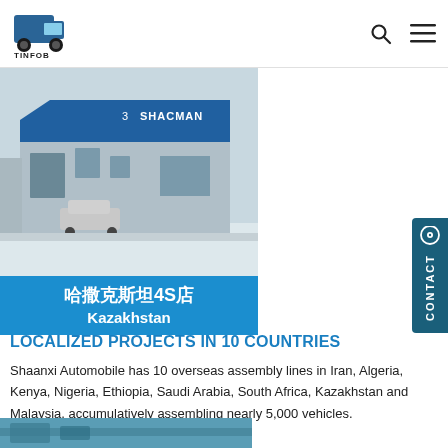TINFOB logo with search and menu icons
[Figure (photo): Exterior photograph of a SHACMAN dealership building in winter/snowy conditions, with a car parked outside. Blue signage reads 'SHACMAN'.]
哈撒克斯坦4S店
Kazakhstan
LOCALIZED PROJECTS IN 10 COUNTRIES
Shaanxi Automobile has 10 overseas assembly lines in Iran, Algeria, Kenya, Nigeria, Ethiopia, Saudi Arabia, South Africa, Kazakhstan and Malaysia, accumulatively assembling nearly 5,000 vehicles.
[Figure (photo): Partial view of another facility or vehicle photo at the bottom of the page.]